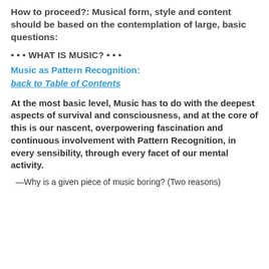How to proceed?: Musical form, style and content should be based on the contemplation of large, basic questions:
• • • WHAT IS MUSIC? • • •
Music as Pattern Recognition:
back to Table of Contents
At the most basic level, Music has to do with the deepest aspects of survival and consciousness, and at the core of this is our nascent, overpowering fascination and continuous involvement with Pattern Recognition, in every sensibility, through every facet of our mental activity.
—Why is a given piece of music boring? (Two reasons)